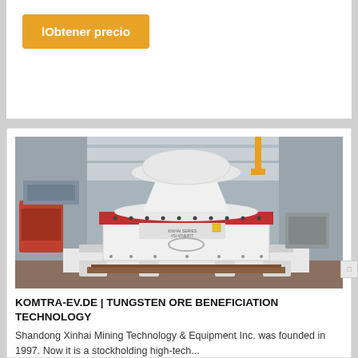lObtener precio
[Figure (photo): Industrial mining machine (cone crusher) in a factory warehouse setting, white and red colored, large heavy machinery on a concrete floor inside a steel building]
KOMTRA-EV.DE | TUNGSTEN ORE BENEFICIATION TECHNOLOGY
Shandong Xinhai Mining Technology & Equipment Inc. was founded in 1997. Now it is a stockholding high-tech...